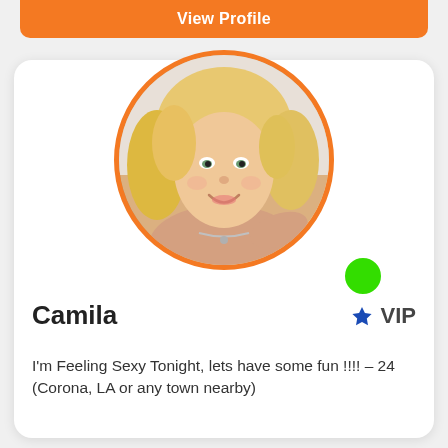View Profile
[Figure (photo): Circular profile photo of a blonde woman with wavy hair, smiling, with an orange border ring around the photo]
Camila
VIP
I'm Feeling Sexy Tonight, lets have some fun !!!! – 24 (Corona, LA or any town nearby)